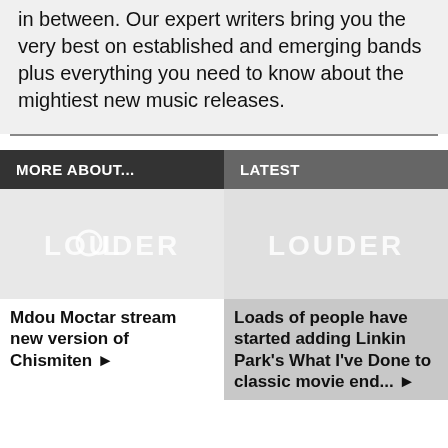in between. Our expert writers bring you the very best on established and emerging bands plus everything you need to know about the mightiest new music releases.
MORE ABOUT...
LATEST
[Figure (logo): Louder logo placeholder image on light grey background]
Mdou Moctar stream new version of Chismiten ▶
[Figure (logo): Louder logo placeholder image on light grey background]
Loads of people have started adding Linkin Park's What I've Done to classic movie end... ▶